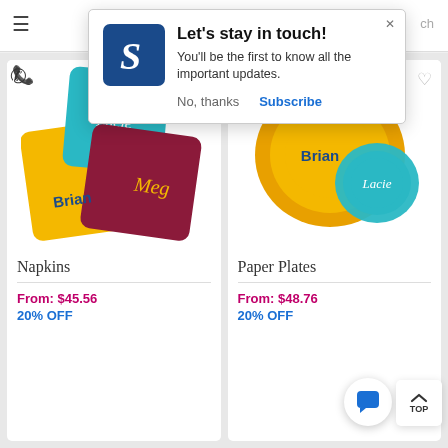[Figure (screenshot): Popup notification with logo, heading 'Let's stay in touch!', body text, and Subscribe/No thanks buttons over a product listing page showing Napkins and Paper Plates with prices and discounts.]
Let's stay in touch!
You'll be the first to know all the important updates.
No, thanks
Subscribe
Napkins
From: $45.56
20% OFF
Paper Plates
From: $48.76
20% OFF